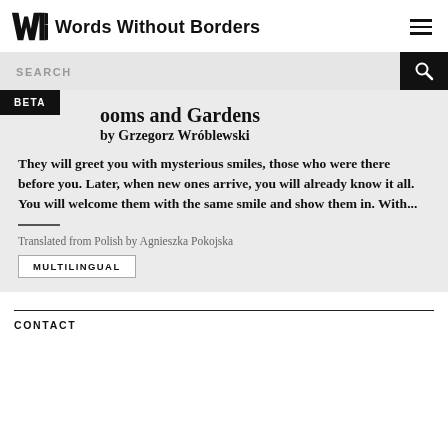Words Without Borders
SEARCH
ooms and Gardens
by Grzegorz Wróblewski
They will greet you with mysterious smiles, those who were there before you. Later, when new ones arrive, you will already know it all. You will welcome them with the same smile and show them in. With...
Translated from Polish by Agnieszka Pokojska
MULTILINGUAL
CONTACT